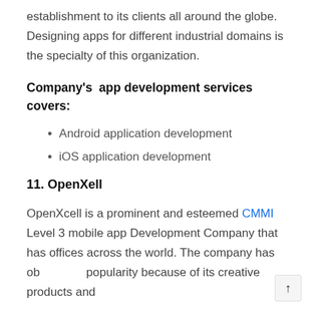establishment to its clients all around the globe. Designing apps for different industrial domains is the specialty of this organization.
Company's  app development services covers:
Android application development
iOS application development
11. OpenXell
OpenXcell is a prominent and esteemed CMMI Level 3 mobile app Development Company that has offices across the world. The company has ob popularity because of its creative products and